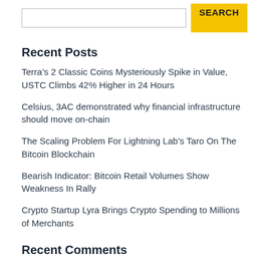Recent Posts
Terra’s 2 Classic Coins Mysteriously Spike in Value, USTC Climbs 42% Higher in 24 Hours
Celsius, 3AC demonstrated why financial infrastructure should move on-chain
The Scaling Problem For Lightning Lab’s Taro On The Bitcoin Blockchain
Bearish Indicator: Bitcoin Retail Volumes Show Weakness In Rally
Crypto Startup Lyra Brings Crypto Spending to Millions of Merchants
Recent Comments